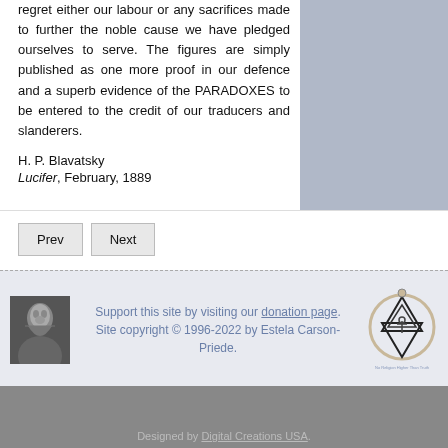regret either our labour or any sacrifices made to further the noble cause we have pledged ourselves to serve. The figures are simply published as one more proof in our defence and a superb evidence of the PARADOXES to be entered to the credit of our traducers and slanderers.
H. P. Blavatsky
Lucifer, February, 1889
Prev
Next
Support this site by visiting our donation page. Site copyright © 1996-2022 by Estela Carson-Priede.
[Figure (photo): Black and white portrait photo of H. P. Blavatsky]
[Figure (logo): Theosophical Society logo - triangle with Star of David and snake border with text 'No Religion Higher Than Truth']
Designed by Digital Creations USA.